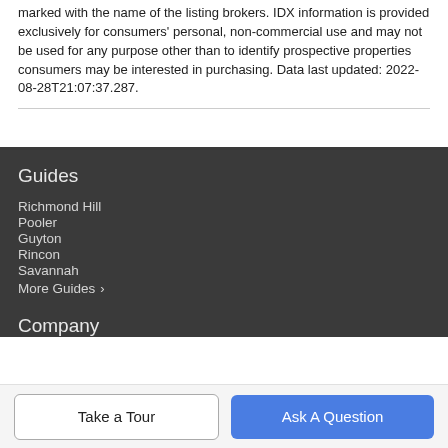marked with the name of the listing brokers. IDX information is provided exclusively for consumers' personal, non-commercial use and may not be used for any purpose other than to identify prospective properties consumers may be interested in purchasing. Data last updated: 2022-08-28T21:07:37.287.
Guides
Richmond Hill
Pooler
Guyton
Rincon
Savannah
More Guides >
Company
Take a Tour
Ask A Question